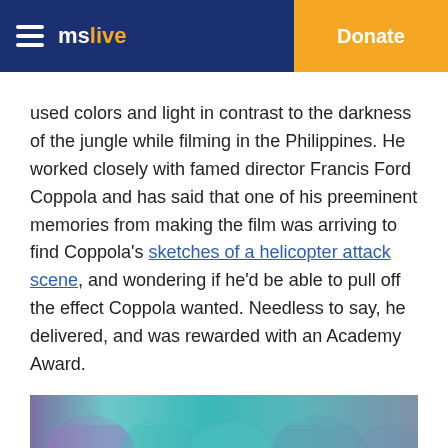mslive  Donate
used colors and light in contrast to the darkness of the jungle while filming in the Philippines. He worked closely with famed director Francis Ford Coppola and has said that one of his preeminent memories from making the film was arriving to find Coppola's sketches of a helicopter attack scene, and wondering if he'd be able to pull off the effect Coppola wanted. Needless to say, he delivered, and was rewarded with an Academy Award.
[Figure (photo): Abstract colorful illustration with neon-colored mechanical or robotic elements on a teal and purple background]